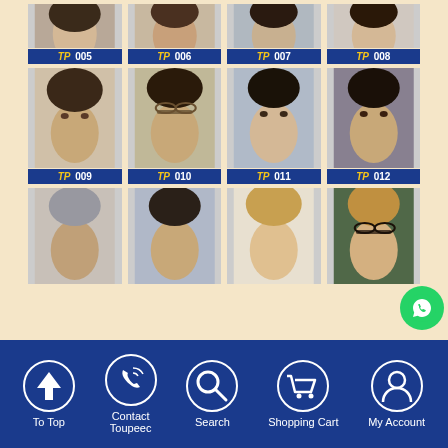[Figure (infographic): E-commerce product grid showing men's hairpiece/toupee styles. Row 1 (partial): TP 005, TP 006, TP 007, TP 008. Row 2: TP 009, TP 010, TP 011, TP 012. Row 3 (partial): unlabeled items showing men with various hairstyles.]
To Top | Contact Toupeec | Search | Shopping Cart | My Account